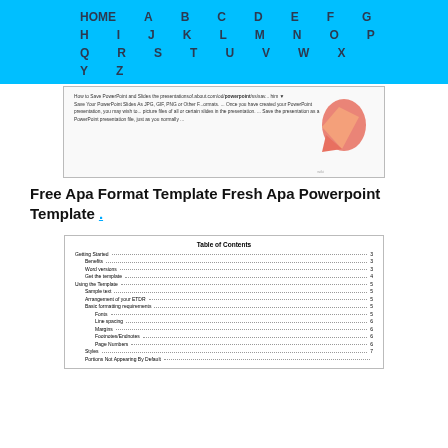HOME A B C D E F G H I J K L M N O P Q R S T U V W X Y Z
[Figure (screenshot): Screenshot of a PowerPoint-related webpage showing text about saving PowerPoint slides as JPG, GIF, PNG or other formats, with a hand/cursor icon overlay and wiki label at bottom]
Free Apa Format Template Fresh Apa Powerpoint Template .
[Figure (table-as-image): Table of Contents showing: Getting Started...3, Benefits...3, Word versions...3, Get the template...4, Using the Template...5, Sample text...5, Arrangement of your ETDR...5, Basic formatting requirements...5, Fonts...5, Line spacing...6, Margins...6, Footnotes/Endnotes...6, Page Numbers...6, Styles...7, Portions Not Appearing By Default...]